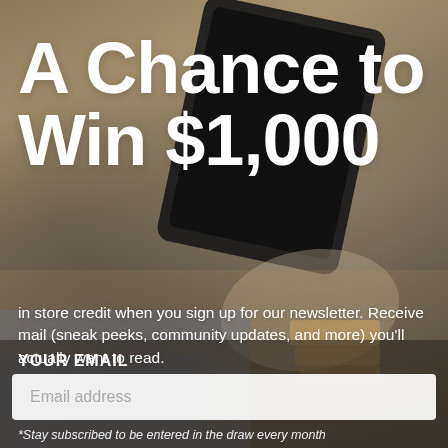[Figure (photo): Background photo of a person sitting in a chair holding/using a tablet device, warm earthy tones with golden/brown hues]
A Chance to Win $1,000
in store credit when you sign up for our newsletter. Receive mail (sneak peeks, community updates, and more) you'll actually want to read.
YOUR EMAIL
Email address
*Stay subscribed to be entered in the draw every month